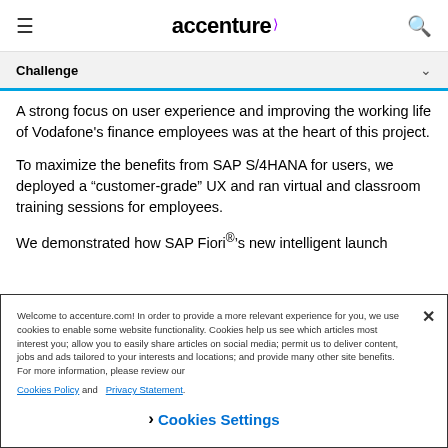accenture
Challenge
A strong focus on user experience and improving the working life of Vodafone's finance employees was at the heart of this project.
To maximize the benefits from SAP S/4HANA for users, we deployed a “customer-grade” UX and ran virtual and classroom training sessions for employees.
We demonstrated how SAP Fiori®’s new intelligent launch
Welcome to accenture.com! In order to provide a more relevant experience for you, we use cookies to enable some website functionality. Cookies help us see which articles most interest you; allow you to easily share articles on social media; permit us to deliver content, jobs and ads tailored to your interests and locations; and provide many other site benefits. For more information, please review our Cookies Policy and Privacy Statement.
› Cookies Settings